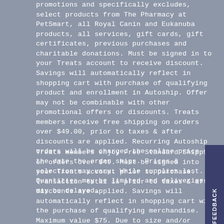promotions and specifically excludes, select products from The Pharmacy at PetSmart, all Royal Canin and Eukanuba products, all services, gift cards, gift certificates, previous purchases and charitable donations. Must be signed in to your Treats account to receive discount. Savings will automatically reflect in shopping cart with purchase of qualifying product and enrollment in Autoship. Offer may not be combinable with other promotional offers or discounts. Treats members receive free shipping on orders over $49.00, prior to taxes & after discounts are applied. Recurring Autoship orders will be charged the online price of the date the order ships. Prices & selection may vary. While supplies last. Quantities may be limited and deliveries may be delayed.
Treats members enjoy Free Standard Shipping on orders over $49. Must be signed into your Treats account prior to purchase. Transaction total is prior to taxes & after discounts are applied. Savings will automatically reflect in shopping cart with the purchase of qualifying merchandise. Maximum value $75. Due to size and/or weight, certain items bear an additional shipping surcharge or special handling fee. Valid only on orders shipped within the contiguous 48 U.S. states, military APO/FPO addresses and select areas throughout Canada. Offer not valid on all or select products in the following categories: live pets, canned, fresh or frozen foods, select cat litters. Offer may not be combinable with other